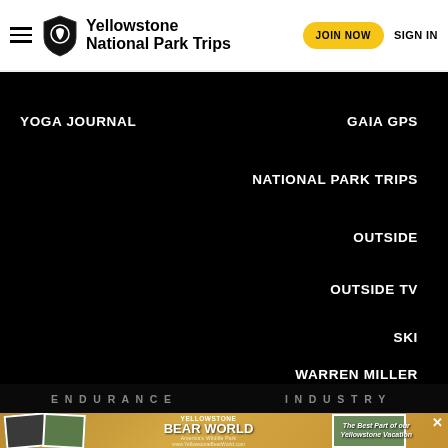Yellowstone National Park Trips — JOIN NOW   SIGN IN
YOGA JOURNAL
GAIA GPS
NATIONAL PARK TRIPS
OUTSIDE
OUTSIDE TV
SKI
WARREN MILLER
ENDURANCE
INDUSTRY
[Figure (photo): Yellowstone Bear World advertisement banner with polaroid-style photos and text 'YELLOWSTONE BEAR WORLD — The Best Part of our Yellowstone Vacation']